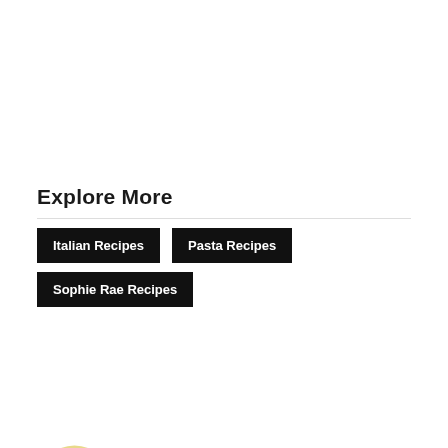Explore More
Italian Recipes
Pasta Recipes
Sophie Rae Recipes
[Figure (illustration): Partial view of a round yellow/cream colored avatar or logo at the bottom left corner of the page]